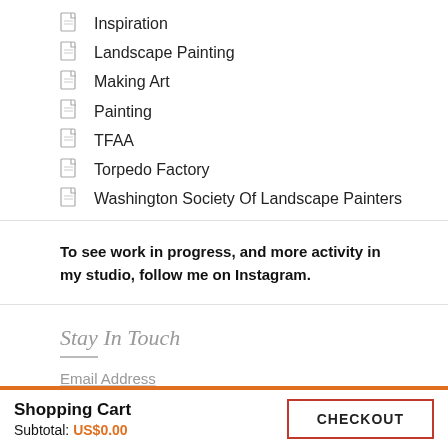Inspiration
Landscape Painting
Making Art
Painting
TFAA
Torpedo Factory
Washington Society Of Landscape Painters
To see work in progress, and more activity in my studio, follow me on Instagram.
Stay In Touch
Email Address
Shopping Cart
Subtotal: US$0.00
CHECKOUT